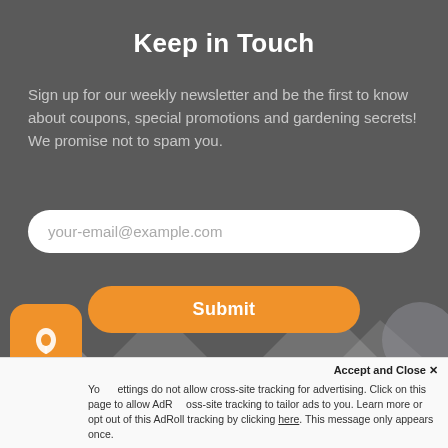Keep in Touch
Sign up for our weekly newsletter and be the first to know about coupons, special promotions and gardening secrets! We promise not to spam you.
your-email@example.com
Submit
[Figure (illustration): Three social media icon circles: Facebook (f), Pinterest (pin icon), Instagram (camera icon)]
[Figure (illustration): Mountain silhouette decoration at bottom of dark background]
[Figure (logo): Orange rounded square app icon with white tulip/flower logo]
Accept and Close ✕
Your settings do not allow cross-site tracking for advertising. Click on this page to allow AdRoll cross-site tracking to tailor ads to you. Learn more or opt out of this AdRoll tracking by clicking here. This message only appears once.